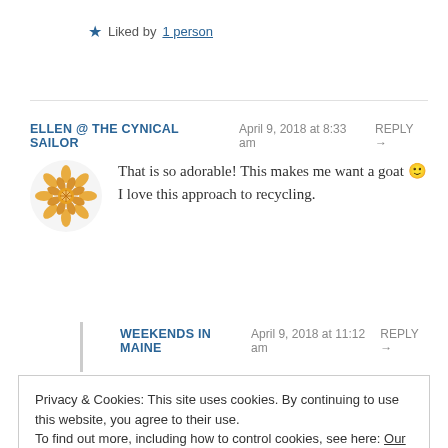ELLEN @ THE CYNICAL SAILOR  April 9, 2018 at 8:33 am  REPLY →
That is so adorable! This makes me want a goat 🙂 I love this approach to recycling.
★ Liked by 1 person
WEEKENDS IN MAINE  April 9, 2018 at 11:12 am  REPLY →
Privacy & Cookies: This site uses cookies. By continuing to use this website, you agree to their use. To find out more, including how to control cookies, see here: Our Cookie Policy
Close and accept